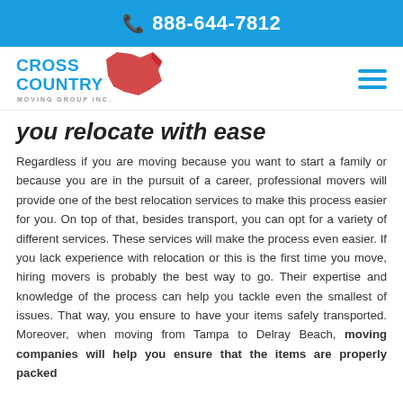📞 888-644-7812
[Figure (logo): Cross Country Moving Group Inc logo with red USA map silhouette and blue text]
you relocate with ease
Regardless if you are moving because you want to start a family or because you are in the pursuit of a career, professional movers will provide one of the best relocation services to make this process easier for you. On top of that, besides transport, you can opt for a variety of different services. These services will make the process even easier. If you lack experience with relocation or this is the first time you move, hiring movers is probably the best way to go. Their expertise and knowledge of the process can help you tackle even the smallest of issues. That way, you ensure to have your items safely transported. Moreover, when moving from Tampa to Delray Beach, moving companies will help you ensure that the items are properly packed